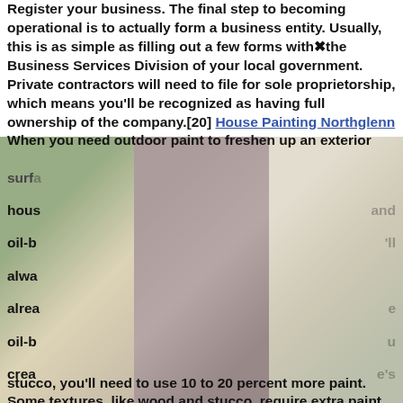Register your business. The final step to becoming operational is to actually form a business entity. Usually, this is as simple as filling out a few forms with the Business Services Division of your local government. Private contractors will need to file for sole proprietorship, which means you'll be recognized as having full ownership of the company.[20] House Painting Northglenn When you need outdoor paint to freshen up an exterior surface... house... and oil-based... always already... oil-based... creates... to take... A single gallon... per gallon... anywhere... stucco, you'll need to use 10 to 20 percent more paint. Some textures, like wood and stucco, require extra paint because they have more surface to cover in a tiny area compared to smooth siding. . Use the highest quality exterior paint your budget will allow for your project. It will look the nicest and
[Figure (photo): Three photos side by side showing people on ladders in dangerous/humorous painting situations: left photo shows person leaning on a ladder outdoors with green lawn and house siding; middle photo shows person hanging from upper floor of a brick house; right photo shows person falling off a ladder indoors.]